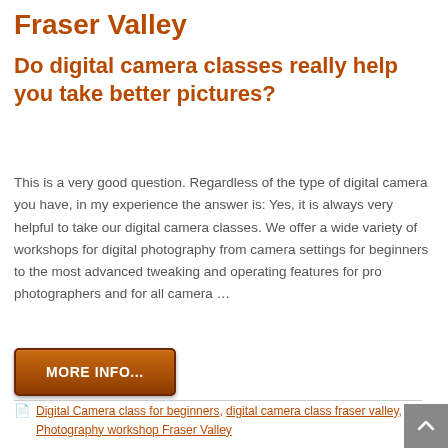Fraser Valley
Do digital camera classes really help you take better pictures?
This is a very good question. Regardless of the type of digital camera you have, in my experience the answer is: Yes, it is always very helpful to take our digital camera classes. We offer a wide variety of workshops for digital photography from camera settings for beginners to the most advanced tweaking and operating features for pro photographers and for all camera …
MORE INFO...
Digital Camera class for beginners, digital camera class fraser valley, Photography workshop Fraser Valley